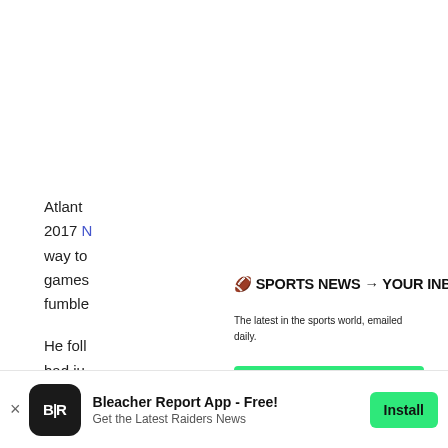Atlant
2017 N
way to
games
fumble
He foll
had ju
Durabi
consid
first th
🏈 SPORTS NEWS → YOUR INBOX
The latest in the sports world, emailed daily.
Join Newsletter
Maybe Later
Bleacher Report App - Free!
Get the Latest Raiders News